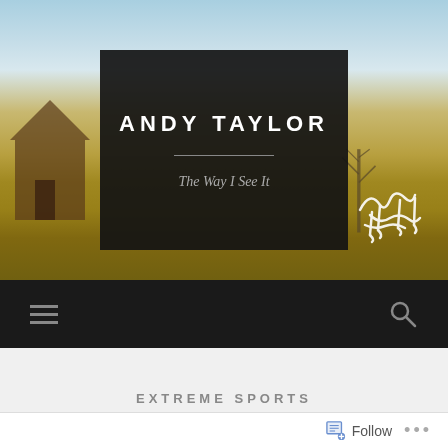[Figure (screenshot): Website header screenshot showing a rural landscape photo background with a dark overlay box containing the blog title 'ANDY TAYLOR' and subtitle 'The Way I See It', a navigation bar with hamburger menu and search icon, and a section heading 'EXTREME SPORTS']
ANDY TAYLOR
The Way I See It
EXTREME SPORTS
Follow
...